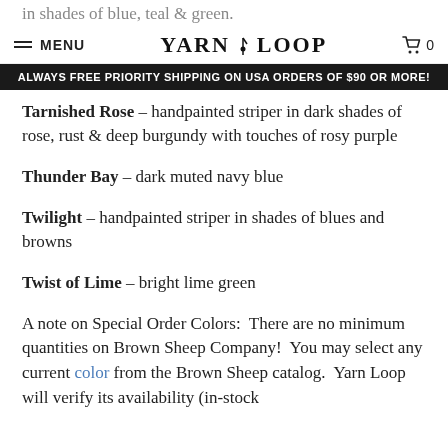MENU  YARN LOOP  0
ALWAYS FREE PRIORITY SHIPPING ON USA ORDERS OF $90 OR MORE!
Tarnished Rose – handpainted striper in dark shades of rose, rust & deep burgundy with touches of rosy purple
Thunder Bay – dark muted navy blue
Twilight – handpainted striper in shades of blues and browns
Twist of Lime – bright lime green
A note on Special Order Colors:  There are no minimum quantities on Brown Sheep Company!  You may select any current color from the Brown Sheep catalog.  Yarn Loop will verify its availability (in-stock